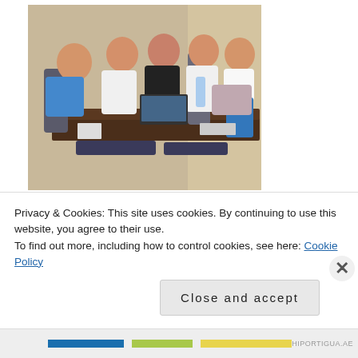[Figure (photo): Group of five young women sitting around a dark wooden table in what appears to be a hotel room. They are smiling at the camera. A laptop and water bottle are visible on the table. One woman is leaning over from the left side.]
Ex-boyfriend and I, spent countless nights playing poker, story telling and scheming, tasting the variety of alcoholic and non-alcoholic beverages (chem) with our friends at
Privacy & Cookies: This site uses cookies. By continuing to use this website, you agree to their use.
To find out more, including how to control cookies, see here: Cookie Policy
Close and accept